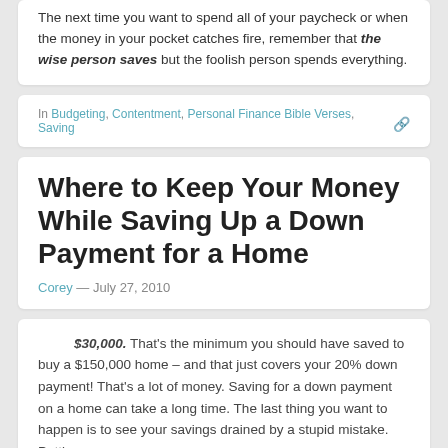The next time you want to spend all of your paycheck or when the money in your pocket catches fire, remember that the wise person saves but the foolish person spends everything.
In Budgeting, Contentment, Personal Finance Bible Verses, Saving
Where to Keep Your Money While Saving Up a Down Payment for a Home
Corey — July 27, 2010
$30,000. That's the minimum you should have saved to buy a $150,000 home – and that just covers your 20% down payment! That's a lot of money. Saving for a down payment on a home can take a long time. The last thing you want to happen is to see your savings drained by a stupid mistake. Putting your